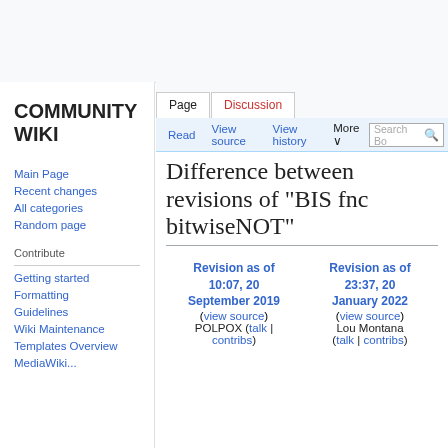Community Wiki – top navigation bar
Difference between revisions of "BIS fnc bitwiseNOT"
Revision as of 10:07, 20 September 2019 (view source)
POLPOX (talk | contribs)
Revision as of 23:37, 20 January 2022 (view source)
Lou Montana (talk | contribs)